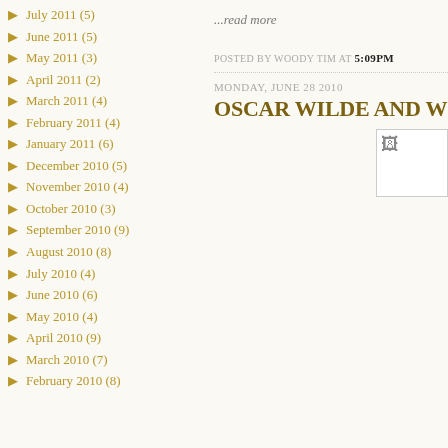▶ July 2011 (5)
▶ June 2011 (5)
▶ May 2011 (3)
▶ April 2011 (2)
▶ March 2011 (4)
▶ February 2011 (4)
▶ January 2011 (6)
▶ December 2010 (5)
▶ November 2010 (4)
▶ October 2010 (3)
▶ September 2010 (9)
▶ August 2010 (8)
▶ July 2010 (4)
▶ June 2010 (6)
▶ May 2010 (4)
▶ April 2010 (9)
▶ March 2010 (7)
▶ February 2010 (8)
...read more
POSTED BY WOODY TIM AT 5:09PM
MONDAY, JUNE 28 2010
OSCAR WILDE AND W
[Figure (photo): Broken/loading image placeholder in the top-right of the article area]